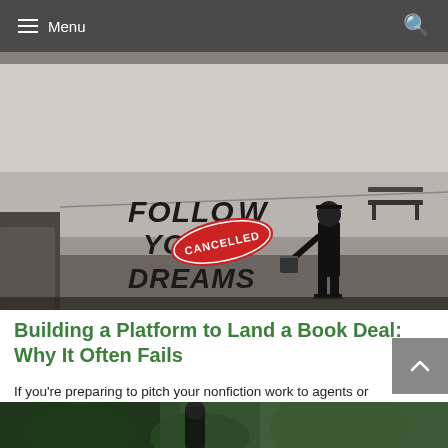Menu
[Figure (photo): Banksy-style street art on a white wall showing a figure holding a bucket next to graffiti text reading 'Follow Your Dreams' with a red 'CANCELLED' stamp overlay. A bench is visible in the upper right.]
Building a Platform to Land a Book Deal: Why It Often Fails
If you're preparing to pitch your nonfiction work to agents or publishers, you may have heard about the necessity of platform. What if you don't have one?
[Figure (photo): Partial view of a person outdoors, cropped at bottom of page.]